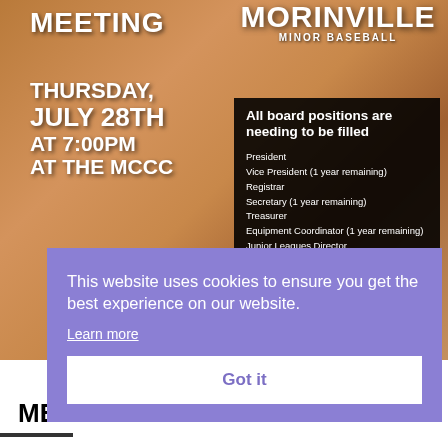[Figure (screenshot): Morinville Minor Baseball meeting announcement poster showing sandy baseball field background. Left side: 'MEETING THURSDAY, JULY 28TH AT 7:00PM AT THE MCCC' in white bold text. Top right: Morinville Minor Baseball logo. Center right: black box listing board positions to be filled - President, Vice President (1 year remaining), Registrar, Secretary (1 year remaining), Treasurer, Equipment Coordinator (1 year remaining), Junior Leagues Director.]
This website uses cookies to ensure you get the best experience on our website.
Learn more
Got it
MET